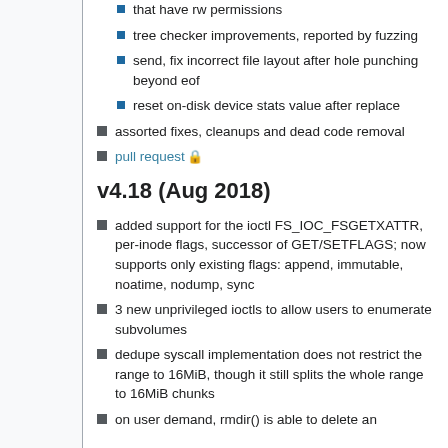that have rw permissions
tree checker improvements, reported by fuzzing
send, fix incorrect file layout after hole punching beyond eof
reset on-disk device stats value after replace
assorted fixes, cleanups and dead code removal
pull request 🔒
v4.18 (Aug 2018)
added support for the ioctl FS_IOC_FSGETXATTR, per-inode flags, successor of GET/SETFLAGS; now supports only existing flags: append, immutable, noatime, nodump, sync
3 new unprivileged ioctls to allow users to enumerate subvolumes
dedupe syscall implementation does not restrict the range to 16MiB, though it still splits the whole range to 16MiB chunks
on user demand, rmdir() is able to delete an